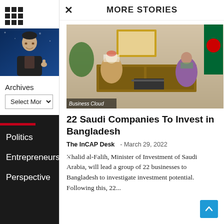[Figure (other): Grid/menu icon (3x3 dots) in sidebar top area]
[Figure (photo): Photo of a man (Elon Musk) giving thumbs up, wearing black jacket, blue background]
Archives
Select Month
Politics
Entrepreneurship
Perspective
MORE STORIES
[Figure (photo): Photo showing two people in formal meeting setting, one in traditional Arab clothing, one in sari, with Bangladesh flag visible, labeled 'Business Cloud']
22 Saudi Companies To Invest in Bangladesh
The InCap Desk  -  March 29, 2022
Khalid al-Falih, Minister of Investment of Saudi Arabia, will lead a group of 22 businesses to Bangladesh to investigate investment potential. Following this, 22...